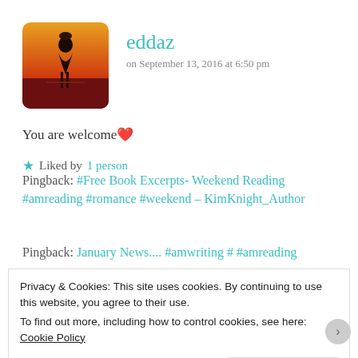[Figure (photo): Avatar image of a silhouette of a person against a sunset background, with red/orange tones]
eddaz
on September 13, 2016 at 6:50 pm
You are welcome❤️
★ Liked by 1 person
Pingback: #Free Book Excerpts- Weekend Reading #amreading #romance #weekend – KimKnight_Author
Pingback: January News.... #amwriting # #amreading
Privacy & Cookies: This site uses cookies. By continuing to use this website, you agree to their use.
To find out more, including how to control cookies, see here: Cookie Policy
Close and accept